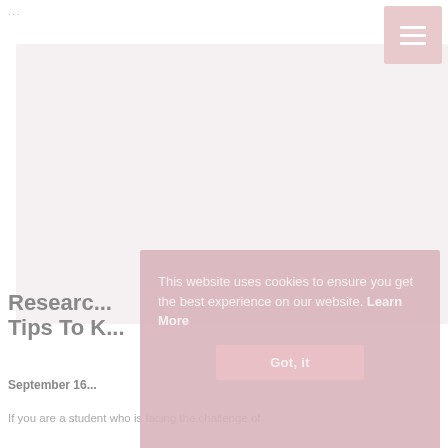...
[Figure (photo): Hero image placeholder — light pinkish-grey rectangle representing a blog post featured image]
Research... Tips To K...
September 16...
If you are a student who is facing the challenge of
This website uses cookies to ensure you get the best experience on our website. Learn More
Got, it